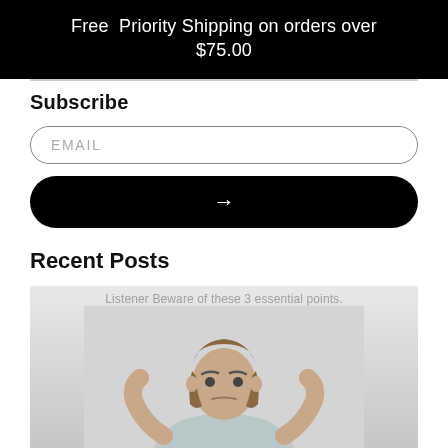Free Priority Shipping on orders over $75.00
Subscribe
EMAIL
→
Recent Posts
[Figure (photo): Woman with brown hair wearing a light blue t-shirt, plugging her ears with her fingers, with text overlay reading 'Listener Beware of these 3 essential points.']